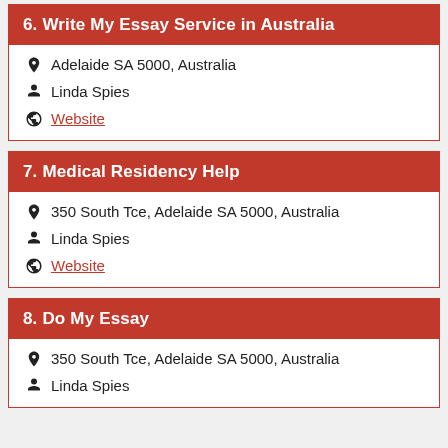6. Write My Essay Service in Australia
Adelaide SA 5000, Australia
Linda Spies
Website
7. Medical Residency Help
350 South Tce, Adelaide SA 5000, Australia
Linda Spies
Website
8. Do My Essay
350 South Tce, Adelaide SA 5000, Australia
Linda Spies